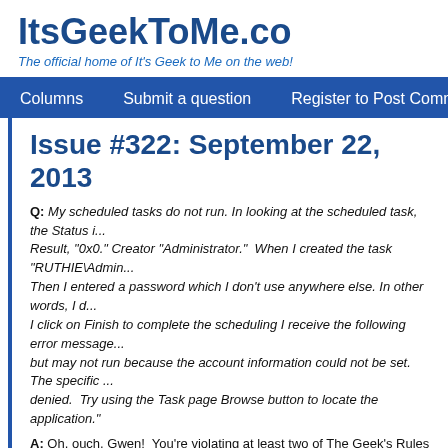ItsGeekToMe.co
The official home of It's Geek to Me on the web!
Columns   Submit a question   Register to Post Comments   Web...
Issue #322: September 22, 2013
Q: My scheduled tasks do not run. In looking at the scheduled task, the Status i... Result, "0x0." Creator "Administrator."  When I created the task "RUTHIE\Admin... Then I entered a password which I don't use anywhere else. In other words, I d... I click on Finish to complete the scheduling I receive the following error message... but may not run because the account information could not be set. The specific ... denied.  Try using the Task page Browse button to locate the application."
A: Oh, ouch, Gwen!  You're violating at least two of The Geek's Rules to Better ... running your computer using the Administrator account, which gives any malwa... system's defense perimeter the maximum possible privileges under which to ins... you're running that way without a password.  That gives any person who manag... (physically or electronically) free access to the entirety of your system, without...